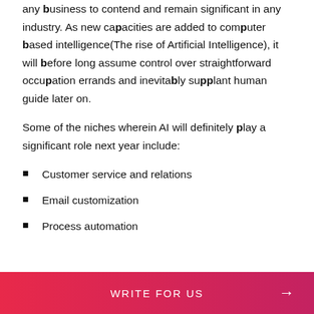any business to contend and remain significant in any industry. As new capacities are added to computer based intelligence(The rise of Artificial Intelligence), it will before long assume control over straightforward occupation errands and inevitably supplant human guide later on.
Some of the niches wherein AI will definitely play a significant role next year include:
Customer service and relations
Email customization
Process automation
WRITE FOR US →